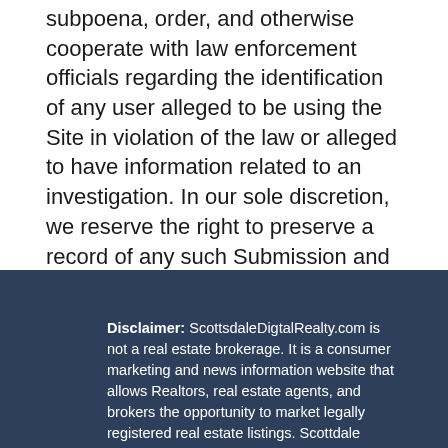subpoena, order, and otherwise cooperate with law enforcement officials regarding the identification of any user alleged to be using the Site in violation of the law or alleged to have information related to an investigation. In our sole discretion, we reserve the right to preserve a record of any such Submission and turn all or a portion thereof over to law enforcement officials.
Disclaimer: ScottsdaleDigtalRealty.com is not a real estate brokerage. It is a consumer marketing and news information website that allows Realtors, real estate agents, and brokers the opportunity to market legally registered real estate listings. Scottdale Digital Network, LLC receives no transaction fees or any referral